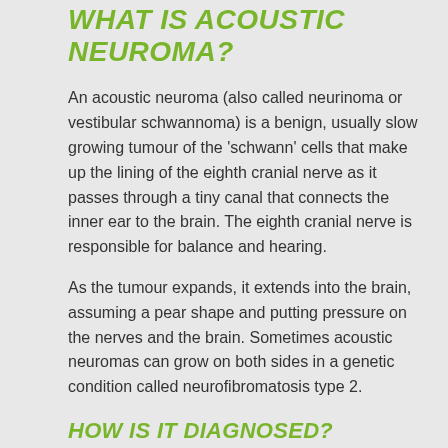WHAT IS ACOUSTIC NEUROMA?
An acoustic neuroma (also called neurinoma or vestibular schwannoma) is a benign, usually slow growing tumour of the 'schwann' cells that make up the lining of the eighth cranial nerve as it passes through a tiny canal that connects the inner ear to the brain. The eighth cranial nerve is responsible for balance and hearing.
As the tumour expands, it extends into the brain, assuming a pear shape and putting pressure on the nerves and the brain. Sometimes acoustic neuromas can grow on both sides in a genetic condition called neurofibromatosis type 2.
HOW IS IT DIAGNOSED?
Acoustic neuroma is usually discovered after the